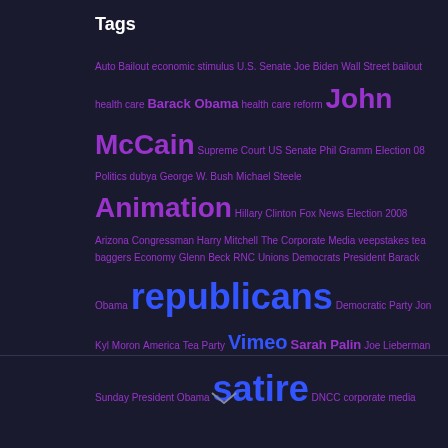Tags
Auto Bailout economic stimulus U.S. Senate Joe Biden Wall Street bailout health care Barack Obama health care reform John McCain Supreme Court US Senate Phil Gramm Election 08 Politics dubya George W. Bush Michael Steele Animation Hillary Clinton Fox News Election 2008 Arizona Congressman Harry Mitchell The Corporate Media veepstakes tea baggers Economy Glenn Beck RNC Unions Democrats President Barack Obama republicans Democratic Party Jon Kyl Moron America Tea Party Vimeo Sarah Palin Joe Lieberman Sunday President Obama satire DNCC corporate media
^